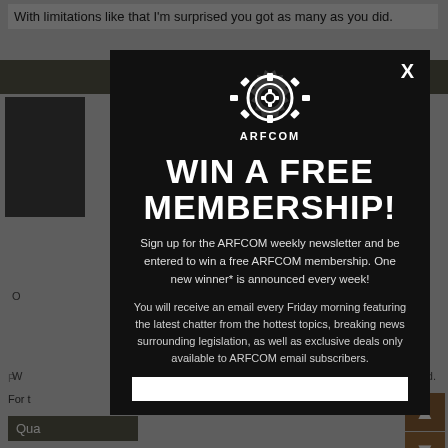With limitations like that I'm surprised you got as many as you did.
Blad
o, USA
P
O
W
d.
For t
Qua
[Figure (screenshot): ARFCOM popup modal overlay on a forum page. Modal has dark background with ARFCOM gear logo, 'WIN A FREE MEMBERSHIP!' headline, promotional text about newsletter signup, and an email input field.]
WIN A FREE MEMBERSHIP!
Sign up for the ARFCOM weekly newsletter and be entered to win a free ARFCOM membership. One new winner* is announced every week!
You will receive an email every Friday morning featuring the latest chatter from the hottest topics, breaking news surrounding legislation, as well as exclusive deals only available to ARFCOM email subscribers.